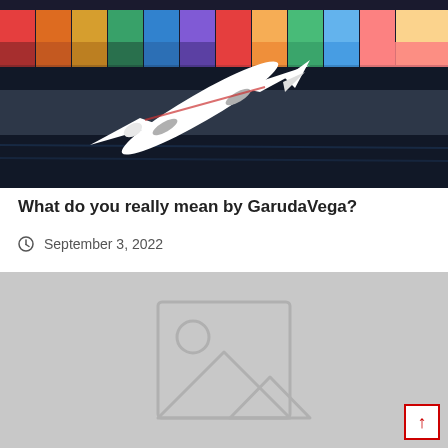[Figure (photo): Aerial view of a white commercial airplane flying over a cargo ship loaded with colorful shipping containers at a port, dark water below]
What do you really mean by GarudaVega?
September 3, 2022
[Figure (photo): Placeholder image with grey background showing a generic image placeholder icon (mountain and sun silhouette inside a rectangle)]